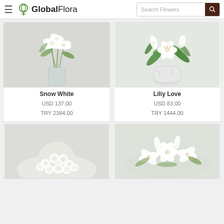GlobalFlora — Search Flowers
[Figure (photo): Snow White flower arrangement in glass vase with white lilies and greenery]
Snow White
USD 137.00
TRY 2384.00
[Figure (photo): Liliy Love white lily arrangement in white marble vase with green leaves]
Liliy Love
USD 83.00
TRY 1444.00
[Figure (photo): Bottom left flower arrangement — white roses in dome shape]
[Figure (photo): Bottom right flower arrangement — white lilies bouquet]